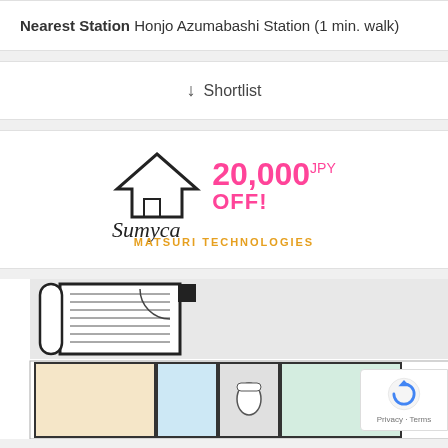Nearest Station Honjo Azumabashi Station (1 min. walk)
↓ Shortlist
[Figure (logo): Sumyca logo with house outline and text '20,000 JPY OFF!' in pink, and 'MATSURI TECHNOLOGIES' in orange below]
[Figure (engineering-diagram): Apartment floor plan showing room layout with stairs, bathroom, and multiple rooms in light colors]